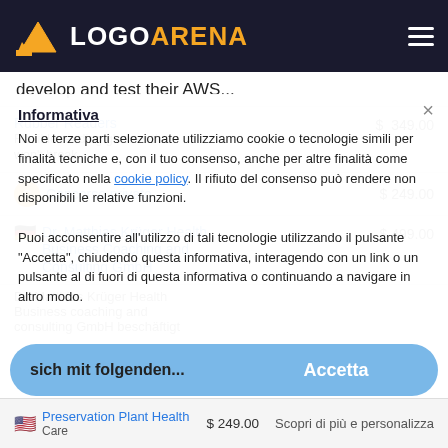LOGO ARENA
develop and test their AWS...
Rubber Readers  $ 349.00
Flexible reading glasses that won't break.
Concorso privato  $ 249.00
Dr. Matthias Krüger Health Business Coaching and Consulting GmbH  $ 499.00
Dr. Matthias Krüger Health Business coaching and consulting GmbH beschäftigt sich mit folgenden...
Informativa
Noi e terze parti selezionate utilizziamo cookie o tecnologie simili per finalità tecniche e, con il tuo consenso, anche per altre finalità come specificato nella cookie policy. Il rifiuto del consenso può rendere non disponibili le relative funzioni.
Puoi acconsentire all'utilizzo di tali tecnologie utilizzando il pulsante "Accetta", chiudendo questa informativa, interagendo con un link o un pulsante al di fuori di questa informativa o continuando a navigare in altro modo.
sich mit folgenden...
Accetta
Preservation Plant Health Care  $ 249.00
Scopri di più e personalizza